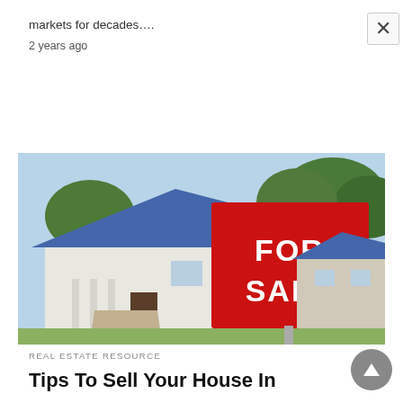markets for decades….
2 years ago
[Figure (photo): A red 'FOR SALE' sign in the foreground with a white house with blue roof in the background on a sunny day.]
REAL ESTATE RESOURCE
Tips To Sell Your House In